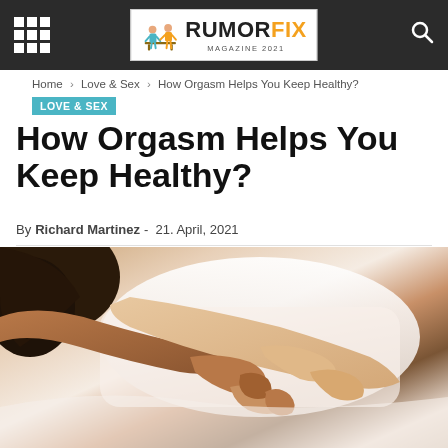RUMORFIX MAGAZINE 2021
Home > Love & Sex > How Orgasm Helps You Keep Healthy?
LOVE & SEX
How Orgasm Helps You Keep Healthy?
By Richard Martinez - 21. April, 2021
[Figure (photo): Close-up of two people holding hands on a white pillow/bed, one with curly dark hair visible]